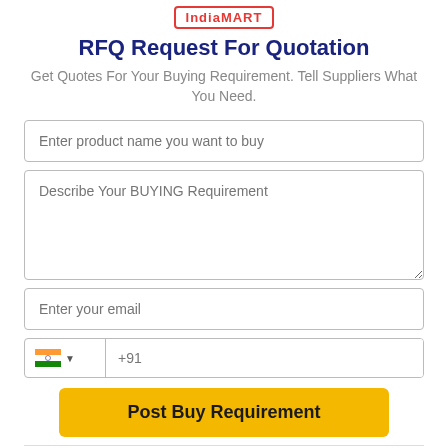[Figure (logo): Red bordered logo box at top center]
RFQ Request For Quotation
Get Quotes For Your Buying Requirement. Tell Suppliers What You Need.
Enter product name you want to buy
Describe Your BUYING Requirement
Enter your email
+91
Post Buy Requirement
I agree to abide by all the Terms and